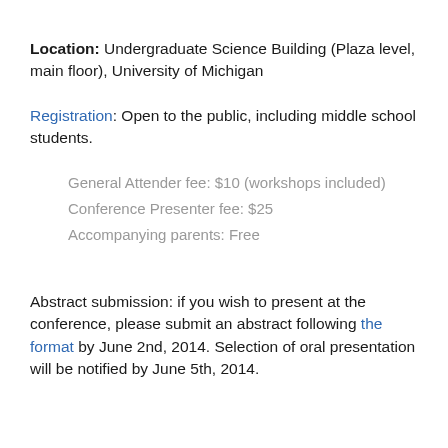Location: Undergraduate Science Building (Plaza level, main floor), University of Michigan
Registration: Open to the public, including middle school students.
General Attender fee: $10 (workshops included)
Conference Presenter fee: $25
Accompanying parents: Free
Abstract submission: if you wish to present at the conference, please submit an abstract following the format by June 2nd, 2014. Selection of oral presentation will be notified by June 5th, 2014.